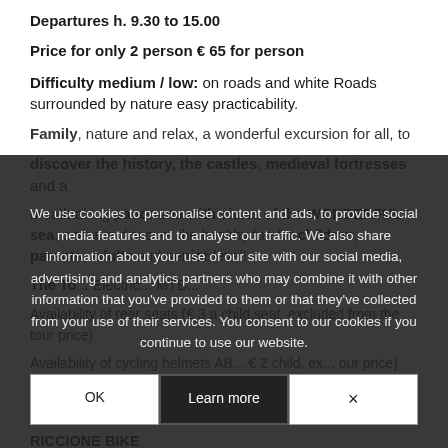Departures h. 9.30 to 15.00
Price for only 2 person € 65 for person
Difficulty medium / low: on roads and white Roads surrounded by nature easy practicability.
Family, nature and relax, a wonderful excursion for all, to discover the history, the castles, medieval fortresses and a breathtaking panorama with views of the WONDERFUL sea, a tour to discover the healthy fun for children, parents, adults and senior level!
The To... Electric... MTB...
Availability of rear seats (€ 3 a child seat, excluded from the tour price)
Availability of cycling helmets AB... € 2 child, ex... our price)
Tour departures: 9:30 am (morning) 15.00 (afternoon) ALE RICCIONE BIKE
We use cookies to personalise content and ads, to provide social media features and to analyse our traffic. We also share information about your use of our site with our social media, advertising and analytics partners who may combine it with other information that you've provided to them or that they've collected from your use of their services. You consent to our cookies if you continue to use our website.